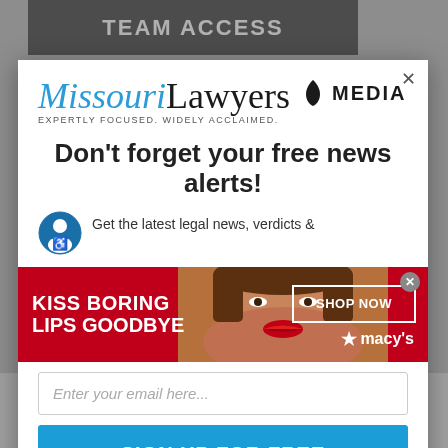[Figure (screenshot): Background webpage with dark banner reading TEAM ACCESS at top]
[Figure (logo): Missouri Lawyers Media logo — italic blue Missouri, black Lawyers, MEDIA wordmark with tagline EXPERTLY FOCUSED. WIDELY ACCLAIMED.]
Don't forget your free news alerts!
Get the latest legal news, verdicts &
[Figure (advertisement): Macy's advertisement: KISS BORING LIPS GOODBYE with woman in red lipstick, SHOP NOW button, macy's star logo]
Enter your email here...
SIGN UP FOR FREE
Cookie Settings
ACCEPT ALL